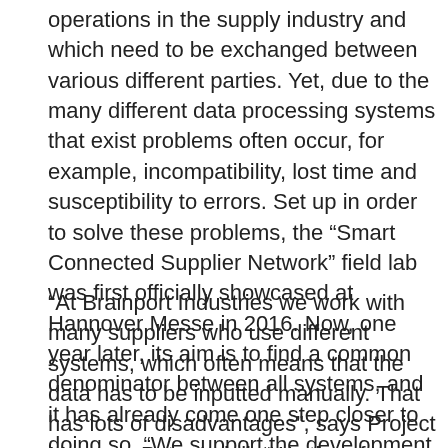operations in the supply industry and which need to be exchanged between various different parties. Yet, due to the many different data processing systems that exist problems often occur, for example, incompatibility, lost time and susceptibility to errors. Set up in order to solve these problems, the “Smart Connected Supplier Network” field lab was first officially showcased at Hannover Messe in 2016. Now, one year later, its aim is to find a common denominator between all systems, and it has already come one step closer to doing so. “We support the development of a common language”, emphasises John Blankendaal, Managing Director of the Dutch supply network Brainport Industries.
“At Brainport Industries we work with many suppliers who use different systems, which often means that the data has to be inputted manually. That has lots of disadvantages”, says Project Manager Peter Laloli. “We therefore need to ensure that the data is interoperable so